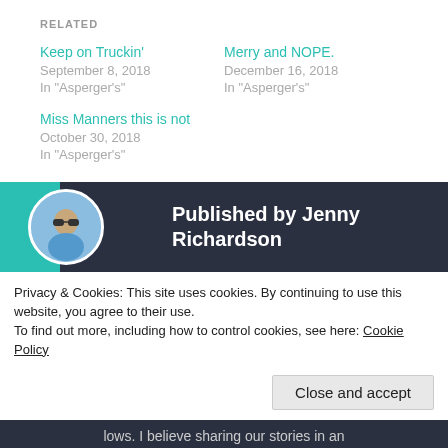RELATED
Keep on Truckin'
September 8, 2018
In "Asperger's"
Merry and NOPE.
December 16, 2018
In "Asperger's"
Miss Manners this is not
October 30, 2018
In "Asperger's"
Published by Jenny Richardson
Privacy & Cookies: This site uses cookies. By continuing to use this website, you agree to their use.
To find out more, including how to control cookies, see here: Cookie Policy
Close and accept
lows. I believe sharing our stories in an